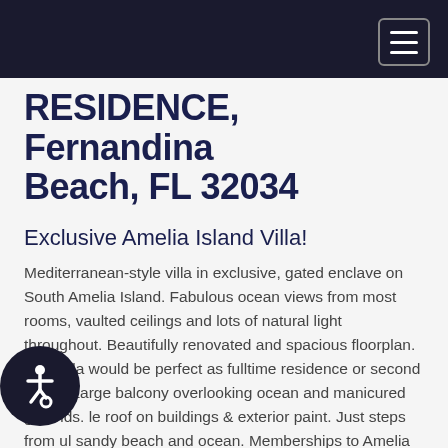RESIDENCE, Fernandina Beach, FL 32034
Exclusive Amelia Island Villa!
Mediterranean-style villa in exclusive, gated enclave on South Amelia Island. Fabulous ocean views from most rooms, vaulted ceilings and lots of natural light throughout. Beautifully renovated and spacious floorplan. This villa would be perfect as fulltime residence or second home. Large balcony overlooking ocean and manicured grounds. [tile] roof on buildings & exterior paint. Just steps from [beautiful] sandy beach and ocean. Memberships to Amelia [Island] Club and Golf Club of Amelia are available.